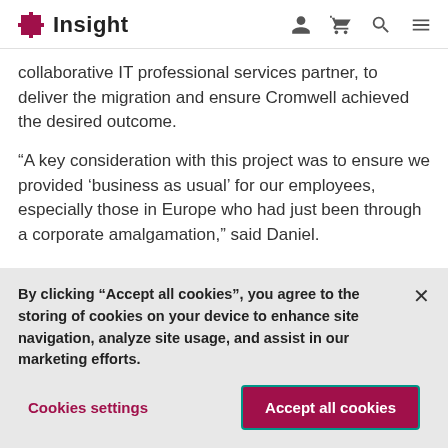Insight
collaborative IT professional services partner, to deliver the migration and ensure Cromwell achieved the desired outcome.
“A key consideration with this project was to ensure we provided ‘business as usual’ for our employees, especially those in Europe who had just been through a corporate amalgamation,” said Daniel.
By clicking “Accept all cookies”, you agree to the storing of cookies on your device to enhance site navigation, analyze site usage, and assist in our marketing efforts.